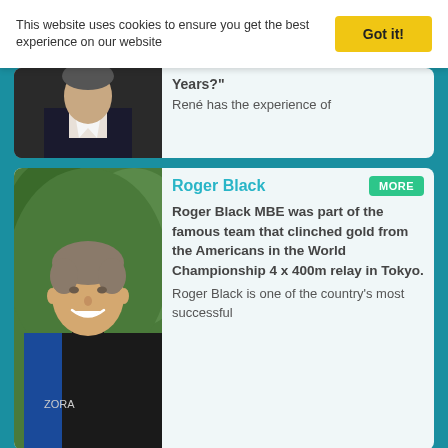This website uses cookies to ensure you get the best experience on our website
Got it!
[Figure (photo): Partial photo of a person in a dark suit, cropped at top]
Years?"
René has the experience of
[Figure (photo): Photo of Roger Black, smiling man in blue and black athletic jacket outdoors]
Roger Black
MORE
Roger Black MBE was part of the famous team that clinched gold from the Americans in the World Championship 4 x 400m relay in Tokyo.
Roger Black is one of the country's most successful
[Figure (photo): Partial photo of Ronan Harrington, young man with curly blond hair]
Ronan Harrington
MORE
Ronan is an expert on how organisations can move from burnout to resilience